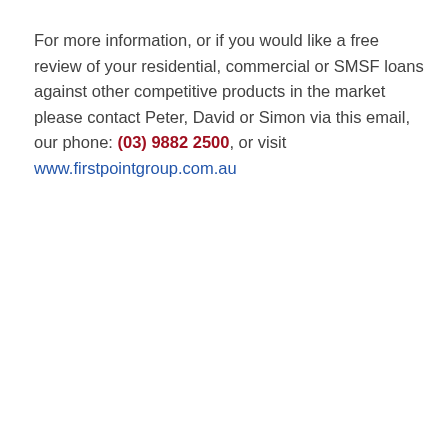For more information, or if you would like a free review of your residential, commercial or SMSF loans against other competitive products in the market please contact Peter, David or Simon via this email, our phone: (03) 9882 2500, or visit www.firstpointgroup.com.au